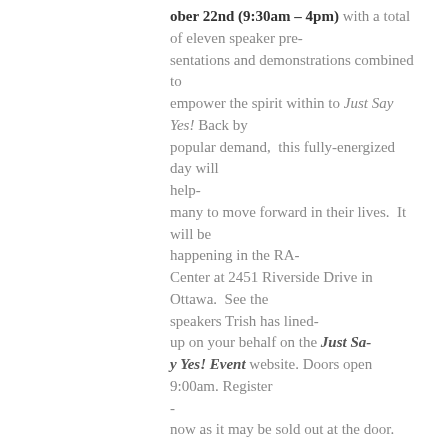ober 22nd (9:30am – 4pm) with a total of eleven speaker pre-sentations and demonstrations combined to empower the spirit within to Just Say Yes! Back by popular demand,  this fully-energized day will help-many to move forward in their lives.  It will be happening in the RA-Center at 2451 Riverside Drive in Ottawa.  See the speakers Trish has lined-up on your behalf on the Just Say Yes! Event website. Doors open 9:00am. Register-now as it may be sold out at the door.
-
Make-A-Wish Gala Event-
Win-Win for Companies Planning